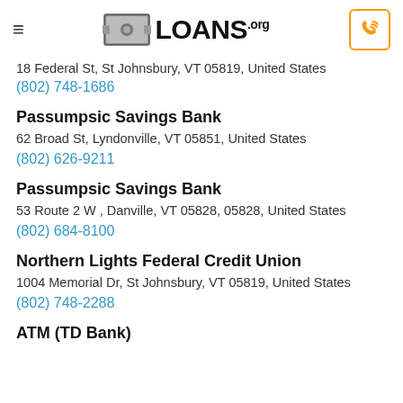LOANS.org
18 Federal St, St Johnsbury, VT 05819, United States
(802) 748-1686
Passumpsic Savings Bank
62 Broad St, Lyndonville, VT 05851, United States
(802) 626-9211
Passumpsic Savings Bank
53 Route 2 W , Danville, VT 05828, 05828, United States
(802) 684-8100
Northern Lights Federal Credit Union
1004 Memorial Dr, St Johnsbury, VT 05819, United States
(802) 748-2288
ATM (TD Bank)